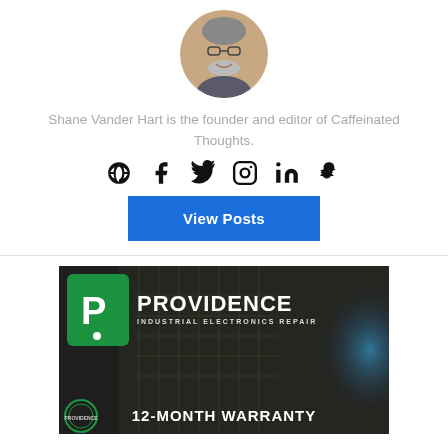[Figure (photo): Circular avatar photo of Shane Vander Hart, a smiling man with glasses and a beard, wearing a grey hoodie]
Shane Vander Hart is the founder and editor of Caffeinated Thoughts.
[Figure (infographic): Row of social media icons: globe/website, Facebook, Twitter, Instagram, LinkedIn, Snapchat]
[Figure (other): Blue 'View Posts' button]
[Figure (photo): Advertisement for Providence Industrial Electronics Repair showing logo, circuit board background, and '12-MONTH WARRANTY' text at bottom]